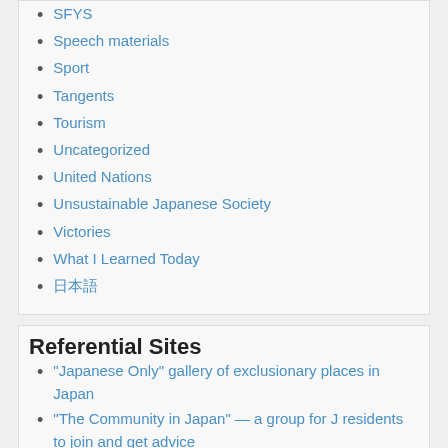SFYS
Speech materials
Sport
Tangents
Tourism
Uncategorized
United Nations
Unsustainable Japanese Society
Victories
What I Learned Today
日本語
Referential Sites
"Japanese Only" gallery of exclusionary places in Japan
"The Community in Japan" — a group for J residents to join and get advice
Activists' Page — site for people wanting to make Japan a better place for everyone
Blacklist of Japanese Universities
Commenting Guidelines
Donate to Debito.org